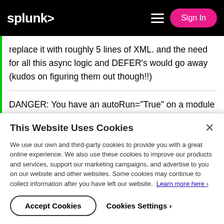splunk> Sign In
replace it with roughly 5 lines of XML. and the need for all this async logic and DEFER's would go away (kudos on figuring them out though!!)
DANGER: You have an autoRun="True" on a module that is nested other module that has an
This Website Uses Cookies
We use our own and third-party cookies to provide you with a great online experience. We also use these cookies to improve our products and services, support our marketing campaigns, and advertise to you on our website and other websites. Some cookies may continue to collect information after you have left our website. Learn more here ›
Accept Cookies
Cookies Settings ›